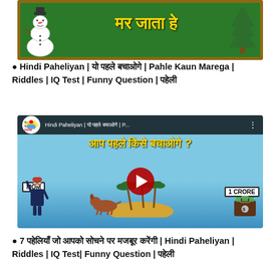[Figure (screenshot): Partial video thumbnail showing a green chalkboard with Hindi text 'मर जाता है' in yellow/gold lettering, a snowman on the left and a Christmas tree on the right.]
● Hindi Paheliyan | यो पहले बचाओगे | Pahle Kaun Marega | Riddles | IQ Test | Funny Question | पहेली
[Figure (screenshot): YouTube video thumbnail for 'Hindi Paheliyan' showing a riddle scene: a woman labeled MOM on a tropical island, a dog, palm trees, and a briefcase labeled 1 CRORE with Hindi text 'आप पहले किसे बचाओगे?' overlaid. YouTube play button visible.]
● 7 पहेलियाँ जो आपको सोचने पर मजबूर करेंगी | Hindi Paheliyan | Riddles | IQ Test| Funny Question | पहेली